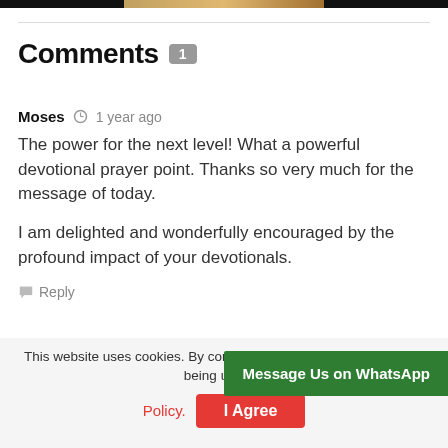Comments 1
Moses  1 year ago
The power for the next level! What a powerful devotional prayer point. Thanks so very much for the message of today.

I am delighted and wonderfully encouraged by the profound impact of your devotionals.
Reply
This website uses cookies. By continuing giving consent to cookies being used. Policy.
I Agree
Message Us on WhatsApp